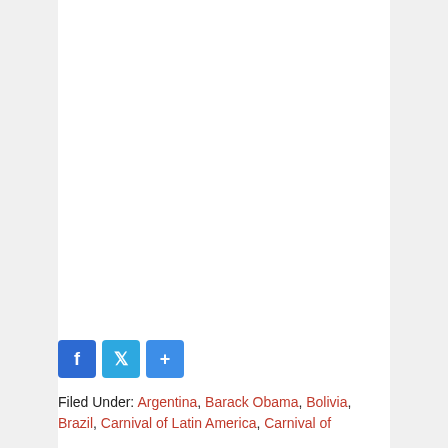[Figure (other): Social share buttons: Facebook (blue), Twitter (blue), and a share/plus button (blue)]
Filed Under: Argentina, Barack Obama, Bolivia, Brazil, Carnival of Latin America, Carnival of